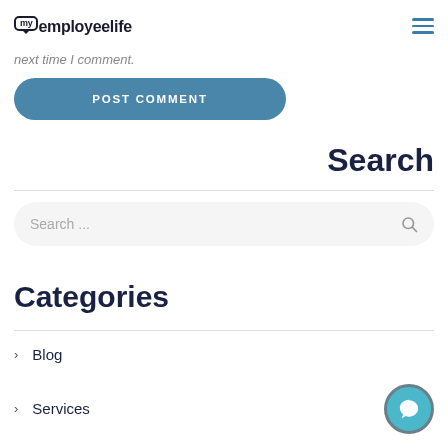my employeelife
next time I comment.
POST COMMENT
Search
Search ...
Categories
Blog
Services